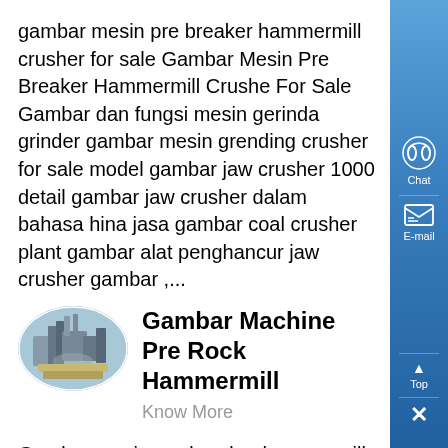gambar mesin pre breaker hammermill crusher for sale Gambar Mesin Pre Breaker Hammermill Crusher For Sale Gambar dan fungsi mesin gerinda grinder gambar mesin grending crusher for sale model gambar jaw crusher 1000 detail gambar jaw crusher dalam bahasa hina jasa gambar coal crusher plant gambar alat penghancur jaw crusher gambar ,...
[Figure (photo): Oval-shaped photo of industrial machinery/plant equipment]
Gambar Machine Pre Rock Hammermill
Know More
Gambar mesin pre breaker hammermill mahakosho motor breaker for hammelmill grinding Crusher manufacturersquotes gambar mesin pre breaker hammermill gambar mesin pre breaker hammermill hammer mill mfg by prater 1780 rpm 10 HP motor 3600 rpm and prebreaker feeder Property2179726 fe